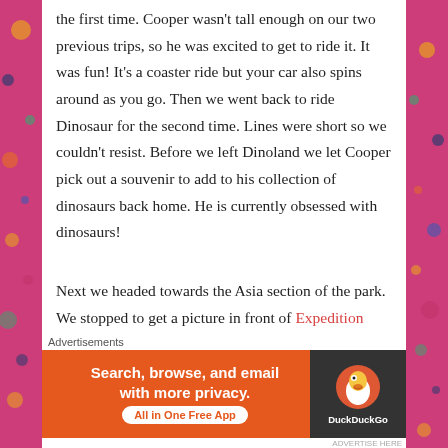the first time. Cooper wasn't tall enough on our two previous trips, so he was excited to get to ride it. It was fun! It's a coaster ride but your car also spins around as you go. Then we went back to ride Dinosaur for the second time. Lines were short so we couldn't resist. Before we left Dinoland we let Cooper pick out a souvenir to add to his collection of dinosaurs back home. He is currently obsessed with dinosaurs!
Next we headed towards the Asia section of the park. We stopped to get a picture in front of Expedition Everest first. Then we headed for the Maharajah Jungle Trek. This is an animal enclosure area of Animal Kingdom and it's amazing!
Advertisements
[Figure (screenshot): DuckDuckGo advertisement banner: orange background with text 'Search, browse, and email with more privacy. All in One Free App' and DuckDuckGo logo on dark background.]